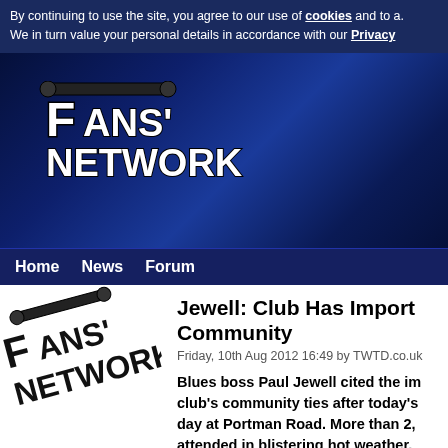By continuing to use the site, you agree to our use of cookies and to a. We in turn value your personal details in accordance with our Privacy
[Figure (logo): Fans' Network logo in website header banner with dark blue gradient background]
Home  News  Forum
[Figure (logo): Fans' Network logo watermark in article content area]
Jewell: Club Has Impor Community
Friday, 10th Aug 2012 16:49 by TWTD.co.uk
Blues boss Paul Jewell cited the im club's community ties after today's day at Portman Road. More than 2, attended in blistering hot weather.